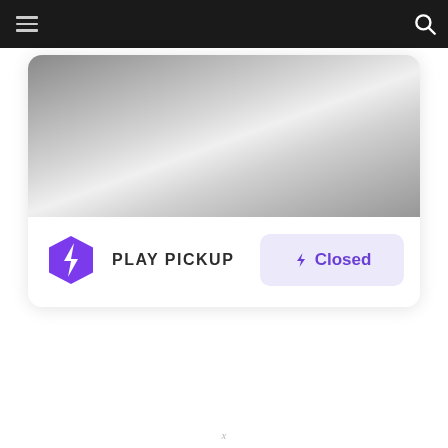Navigation bar with hamburger menu and search icon
[Figure (screenshot): Grey gradient image area inside a card, representing a store or brand hero image]
PLAY PICKUP
⚡ Closed
x